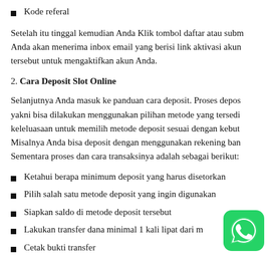Kode referal
Setelah itu tinggal kemudian Anda Klik tombol daftar atau subm Anda akan menerima inbox email yang berisi link aktivasi akun tersebut untuk mengaktifkan akun Anda.
2. Cara Deposit Slot Online
Selanjutnya Anda masuk ke panduan cara deposit. Proses depos yakni bisa dilakukan menggunakan pilihan metode yang tersedi keleluasaan untuk memilih metode deposit sesuai dengan kebut Misalnya Anda bisa deposit dengan menggunakan rekening ban Sementara proses dan cara transaksinya adalah sebagai berikut:
Ketahui berapa minimum deposit yang harus disetorkan
Pilih salah satu metode deposit yang ingin digunakan
Siapkan saldo di metode deposit tersebut
Lakukan transfer dana minimal 1 kali lipat dari m de
Cetak bukti transfer